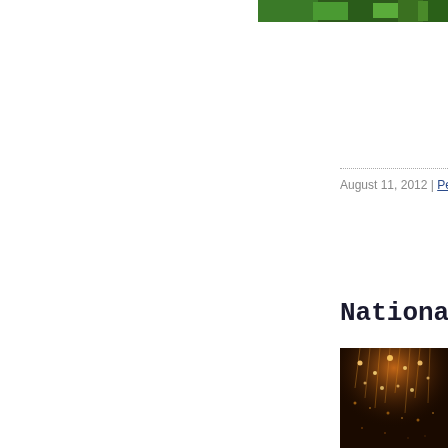[Figure (photo): Green foliage/plant image at top right, partially visible]
August 11, 2012 | Permalink
National Thea
[Figure (photo): Dark background with cascading warm golden/orange lights, like glowing droplets or fiber optic lights hanging from above]